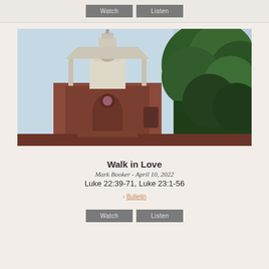[Figure (other): Two buttons labeled Watch and Listen on a light beige background]
[Figure (photo): Photograph of a red brick church with a white steeple/spire rising against a pale blue sky, with large green trees on the right side]
Walk in Love
Mark Booker - April 10, 2022
Luke 22:39-71, Luke 23:1-56
Bulletin
[Figure (other): Two buttons labeled Watch and Listen on a light beige background]